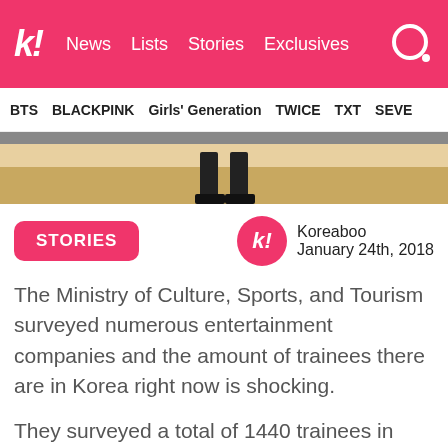k! News Lists Stories Exclusives
BTS BLACKPINK Girls' Generation TWICE TXT SEVE
[Figure (photo): Bottom portion of a photo showing a person's boots/legs on a wooden floor]
STORIES
Koreaboo
January 24th, 2018
The Ministry of Culture, Sports, and Tourism surveyed numerous entertainment companies and the amount of trainees there are in Korea right now is shocking.
They surveyed a total of 1440 trainees in Korean entertainment companies, and 75% of them are singer trainees.